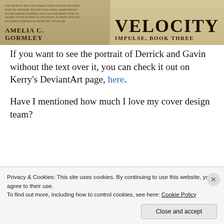[Figure (photo): Book cover for 'Velocity: Impulse, Book Three' by Amelia C. Gormley, showing a sepia-toned portrait of two men in formal attire, with the author name on the left and the title on the right.]
If you want to see the portrait of Derrick and Gavin without the text over it, you can check it out on Kerry's DeviantArt page, here.
Have I mentioned how much I love my cover design team?
Privacy & Cookies: This site uses cookies. By continuing to use this website, you agree to their use.
To find out more, including how to control cookies, see here: Cookie Policy
Close and accept